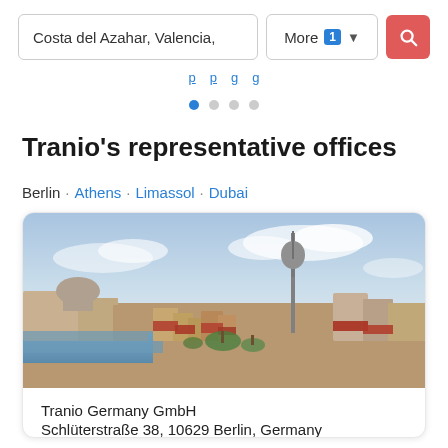Costa del Azahar, Valencia, | More 1 ▾ | [search icon]
· · · ·
Tranio's representative offices
Berlin · Athens · Limassol · Dubai
[Figure (photo): Aerial panoramic view of Berlin cityscape showing the TV Tower (Fernsehturm), Berlin Cathedral, the Spree river, and red-roofed buildings under a blue sky with clouds.]
Tranio Germany GmbH
Schlüterstraße 38, 10629 Berlin, Germany